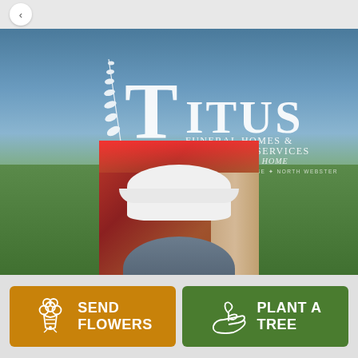[Figure (screenshot): Back navigation button (arrow) on grey bar at top]
[Figure (photo): Hero image with Titus Funeral Homes & Cremation Services logo overlaid on a green field/sky landscape background, with a portrait photo of a person wearing a white Veterans cap in a red-lit barn setting]
[Figure (infographic): Two action buttons at bottom: orange 'SEND FLOWERS' button with flower bouquet icon, and green 'PLANT A TREE' button with seedling hand icon]